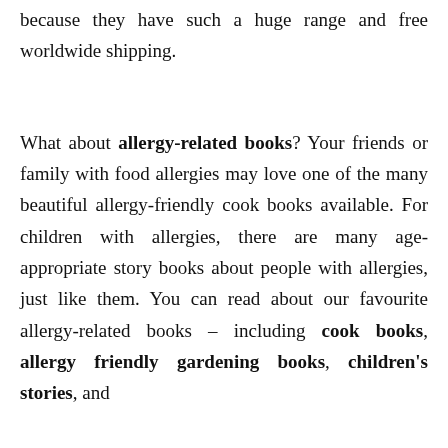because they have such a huge range and free worldwide shipping.
What about allergy-related books? Your friends or family with food allergies may love one of the many beautiful allergy-friendly cook books available. For children with allergies, there are many age-appropriate story books about people with allergies, just like them. You can read about our favourite allergy-related books – including cook books, allergy friendly gardening books, children's stories, and